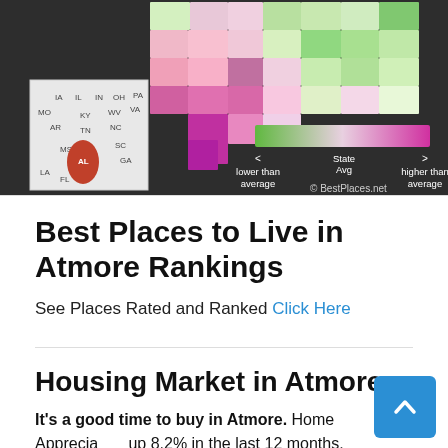[Figure (map): Choropleth map of Alabama counties showing home appreciation rates relative to state average. Green areas indicate lower than average, pink/magenta areas indicate higher than average. Small inset map shows Alabama highlighted among southeastern US states. Legend bar goes from green (lower than average) through white (State Avg) to pink/magenta (higher than average). Copyright BestPlaces.net]
Best Places to Live in Atmore Rankings
See Places Rated and Ranked Click Here
Housing Market in Atmore
It's a good time to buy in Atmore. Home Appreciation up 8.2% in the last 12 months.